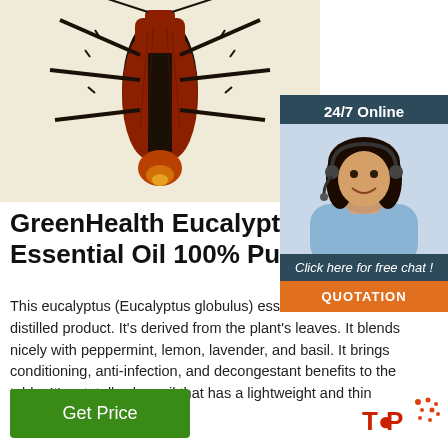[Figure (illustration): Close-up botanical/scientific illustration of an insect (cockroach or bug), showing detailed legs, wings, and body in red-brown and black tones on a cream/yellow background]
[Figure (photo): Chat widget showing '24/7 Online' header on dark blue-gray background, photo of female customer service agent wearing headset and smiling, 'Click here for free chat!' text in italic, and orange 'QUOTATION' button]
GreenHealth Eucalyptus Glo Essential Oil 100% Pure ...
This eucalyptus (Eucalyptus globulus) essential oil is a steam distilled product. It's derived from the plant's leaves. It blends nicely with peppermint, lemon, lavender, and basil. It brings conditioning, anti-infection, and decongestant benefits to the table. It's a totally clear oil that has a lightweight and thin
Get Price
[Figure (logo): TOP logo with red/orange dots pattern, bottom right corner]